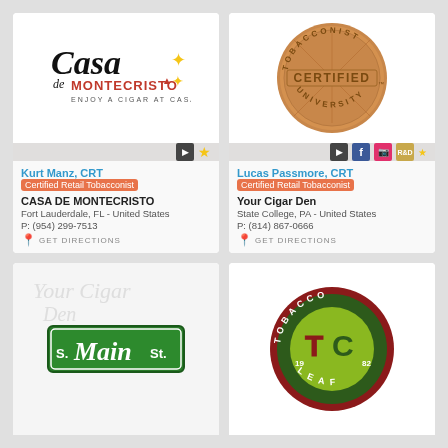[Figure (logo): Casa de Montecristo logo - cursive Casa text with MONTECRISTO and ENJOY A CIGAR AT CASA tagline, with decorative star/triangle icon]
[Figure (logo): Certified Tobacconist University bronze medallion coin logo]
Kurt Manz, CRT
Certified Retail Tobacconist
CASA DE MONTECRISTO
Fort Lauderdale, FL - United States
P: (954) 299-7513
GET DIRECTIONS
Lucas Passmore, CRT
Certified Retail Tobacconist
Your Cigar Den
State College, PA - United States
P: (814) 867-0666
GET DIRECTIONS
[Figure (logo): S. Main St. street sign logo on faded background]
[Figure (logo): Tobacco Leaf 1982 circular logo - dark red and green with TC letters]